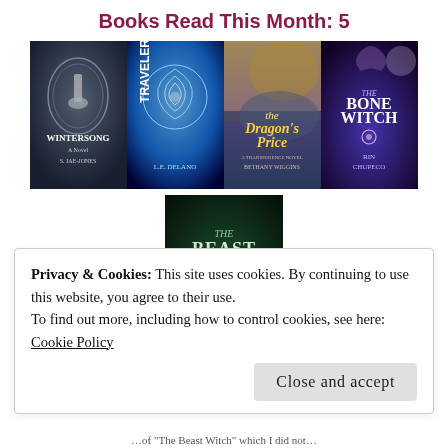Books Read This Month: 5
[Figure (photo): Row of four fantasy book covers: Wintersong by S. Jae-Jones, Traveler by L.E. DeLano, The Dragon's Price by Bethany Wiggins, The Bone Witch by Rin Chupeco]
[Figure (photo): Single fantasy book cover: The Beast Is An (partially visible title)]
Privacy & Cookies: This site uses cookies. By continuing to use this website, you agree to their use.
To find out more, including how to control cookies, see here: Cookie Policy
Close and accept